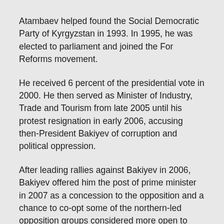Atambaev helped found the Social Democratic Party of Kyrgyzstan in 1993. In 1995, he was elected to parliament and joined the For Reforms movement.
He received 6 percent of the presidential vote in 2000. He then served as Minister of Industry, Trade and Tourism from late 2005 until his protest resignation in early 2006, accusing then-President Bakiyev of corruption and political oppression.
After leading rallies against Bakiyev in 2006, Bakiyev offered him the post of prime minister in 2007 as a concession to the opposition and a chance to co-opt some of the northern-led opposition groups considered more open to negotiation with Bakiyev's southern support base. Atambayev resigned that same year, however, again accusing